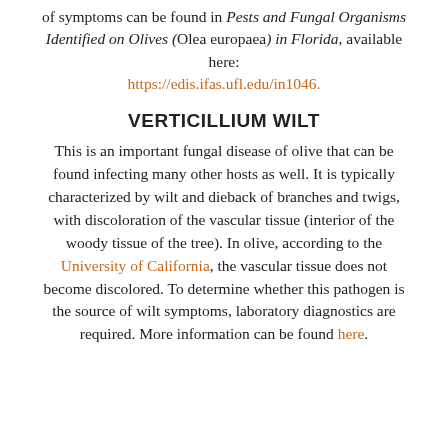of symptoms can be found in Pests and Fungal Organisms Identified on Olives (Olea europaea) in Florida, available here: https://edis.ifas.ufl.edu/in1046.
VERTICILLIUM WILT
This is an important fungal disease of olive that can be found infecting many other hosts as well. It is typically characterized by wilt and dieback of branches and twigs, with discoloration of the vascular tissue (interior of the woody tissue of the tree). In olive, according to the University of California, the vascular tissue does not become discolored. To determine whether this pathogen is the source of wilt symptoms, laboratory diagnostics are required. More information can be found here.